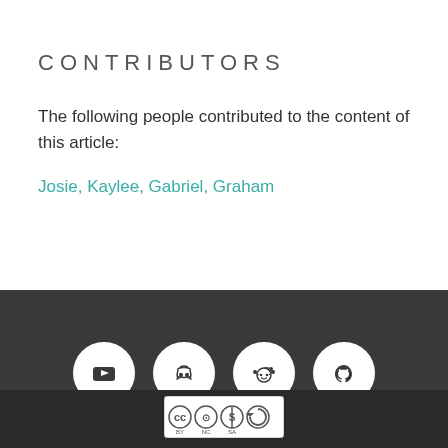CONTRIBUTORS
The following people contributed to the content of this article:
Josie, Kaylee, Gabriel, Graham
[Figure (infographic): Dark footer bar with four social media icon circles: YouTube, Discord, Reddit, GitHub]
[Figure (logo): Creative Commons BY NC SA license badge]